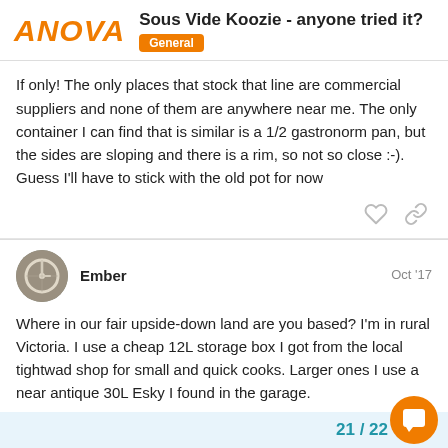Sous Vide Koozie - anyone tried it? | General
If only! The only places that stock that line are commercial suppliers and none of them are anywhere near me. The only container I can find that is similar is a 1/2 gastronorm pan, but the sides are sloping and there is a rim, so not so close :-). Guess I'll have to stick with the old pot for now
Ember Oct '17
Where in our fair upside-down land are you based? I'm in rural Victoria. I use a cheap 12L storage box I got from the local tightwad shop for small and quick cooks. Larger ones I use a near antique 30L Esky I found in the garage.
21 / 22